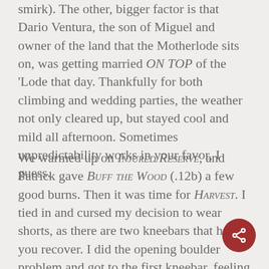smirk). The other, bigger factor is that Dario Ventura, the son of Miguel and owner of the land that the Motherlode sits on, was getting married ON TOP of the 'Lode that day. Thankfully for both climbing and wedding parties, the weather not only cleared up, but stayed cool and mild all afternoon. Sometimes unpredictability works in your favor, I guess.
We warmed up on Injured Reserve, and Patrick gave Buff the Wood (.12b) a few good burns. Then it was time for Harvest. I tied in and cursed my decision to wear shorts, as there are two kneebars that help you recover. I did the opening boulder problem and got to the first kneebar, feeling strong. I nearly